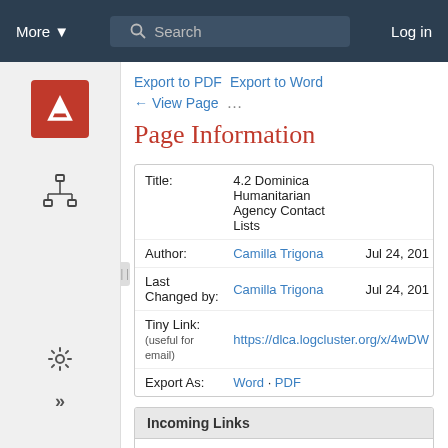More ▾   Search   Log in
Page Information
| Field | Value | Date |
| --- | --- | --- |
| Title: | 4.2 Dominica Humanitarian Agency Contact Lists |  |
| Author: | Camilla Trigona | Jul 24, 201… |
| Last Changed by: | Camilla Trigona | Jul 24, 201… |
| Tiny Link: (useful for email) | https://dlca.logcluster.org/x/4wDW… |  |
| Export As: | Word · PDF |  |
Incoming Links
Logistics Capacity Assessment (2)